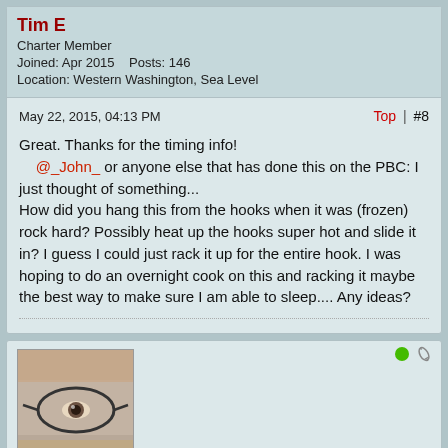Tim E
Charter Member
Joined: Apr 2015    Posts: 146
Location: Western Washington, Sea Level
May 22, 2015, 04:13 PM
Top | #8
Great. Thanks for the timing info!
    @_John_ or anyone else that has done this on the PBC: I just thought of something...
How did you hang this from the hooks when it was (frozen) rock hard? Possibly heat up the hooks super hot and slide it in? I guess I could just rack it up for the entire hook. I was hoping to do an overnight cook on this and racking it maybe the best way to make sure I am able to sleep.... Any ideas?
[Figure (photo): Close-up photo of a person wearing glasses, showing mainly one eye and eyeglasses frame]
Jerod Broussard